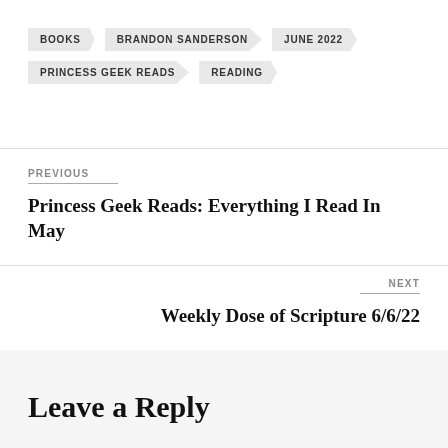BOOKS
BRANDON SANDERSON
JUNE 2022
PRINCESS GEEK READS
READING
PREVIOUS
Princess Geek Reads: Everything I Read In May
NEXT
Weekly Dose of Scripture 6/6/22
Leave a Reply